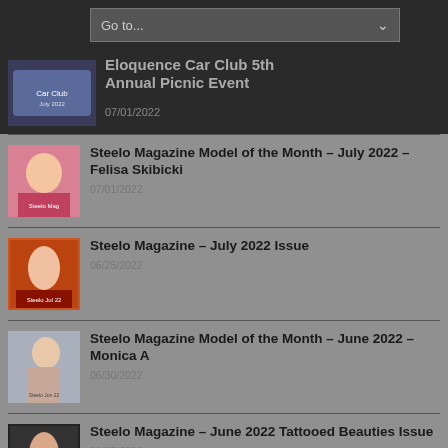Go to...
Eloquence Car Club 5th Annual Picnic Event
07/01/2022
Steelo Magazine Model of the Month – July 2022 – Felisa Skibicki
07/01/2022
Steelo Magazine – July 2022 Issue
06/25/2022
Steelo Magazine Model of the Month – June 2022 – Monica A
06/30/2022
Steelo Magazine – June 2022 Tattooed Beauties Issue
06/25/2022